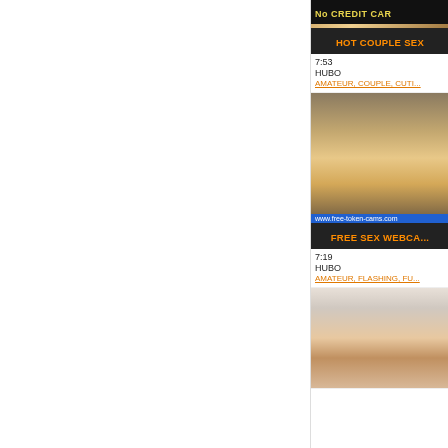[Figure (screenshot): White blank left panel area]
[Figure (screenshot): Video thumbnail - top card with dark banner showing No CREDIT CAR... text]
HOT COUPLE SEX
7:53
HUBO
AMATEUR, COUPLE, CUTI...
[Figure (screenshot): Video thumbnail - bedroom scene with person, www.free-token-cams.com watermark]
FREE SEX WEBCA...
7:19
HUBO
AMATEUR, FLASHING, FU...
[Figure (screenshot): Video thumbnail - shower/bathroom scene]